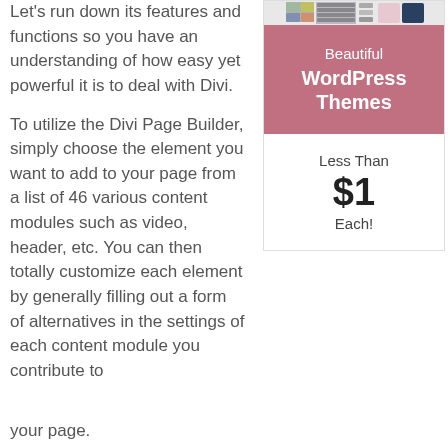Let's run down its features and functions so you have an understanding of how easy yet powerful it is to deal with Divi.
[Figure (infographic): Advertisement banner for Beautiful WordPress Themes, Less Than $1 Each, with thumbnail images at top]
To utilize the Divi Page Builder, simply choose the element you want to add to your page from a list of 46 various content modules such as video, header, etc. You can then totally customize each element by generally filling out a form of alternatives in the settings of each content module you contribute to your page.